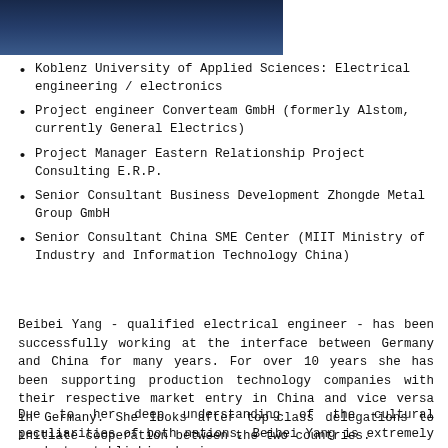[Figure (photo): Partial photo of a person, cropped at top of page, showing dark clothing and background]
Koblenz University of Applied Sciences: Electrical engineering / electronics
Project engineer Converteam GmbH (formerly Alstom, currently General Electrics)
Project Manager Eastern Relationship Project Consulting E.R.P.
Senior Consultant Business Development Zhongde Metal Group GmbH
Senior Consultant China SME Center (MIIT Ministry of Industry and Information Technology China)
Beibei Yang - qualified electrical engineer - has been successfully working at the interface between Germany and China for many years. For over 10 years she has been supporting production technology companies with their respective market entry in China and vice versa in Germany. She looks after top-class delegations to initiate cooperation between the two countries.
Due to her deep understanding of the cultural peculiarities of both nations, Beibei Yang is extremely good at establishing business